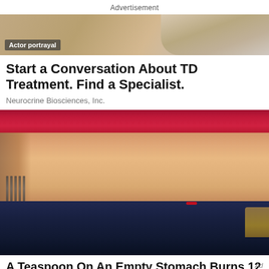Advertisement
[Figure (photo): Cropped photo showing two people, one with a bandaged arm — actor portrayal for a medical advertisement about TD treatment.]
Actor portrayal
Start a Conversation About TD Treatment. Find a Specialist.
Neurocrine Biosciences, Inc.
[Figure (photo): Cropped photo of a fit person's midsection wearing a red sports bra and dark blue shorts, holding their waistband.]
A Teaspoon On An Empty Stomach Burns 12
Ad